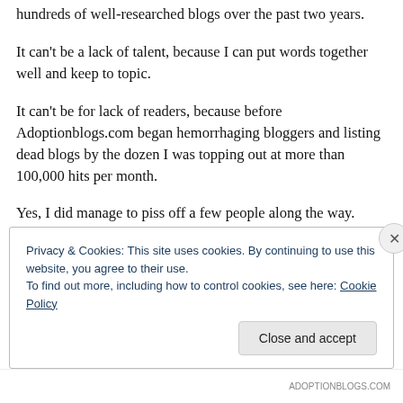hundreds of well-researched blogs over the past two years.
It can't be a lack of talent, because I can put words together well and keep to topic.
It can't be for lack of readers, because before Adoptionblogs.com began hemorrhaging bloggers and listing dead blogs by the dozen I was topping out at more than 100,000 hits per month.
Yes, I did manage to piss off a few people along the way.
Privacy & Cookies: This site uses cookies. By continuing to use this website, you agree to their use.
To find out more, including how to control cookies, see here: Cookie Policy